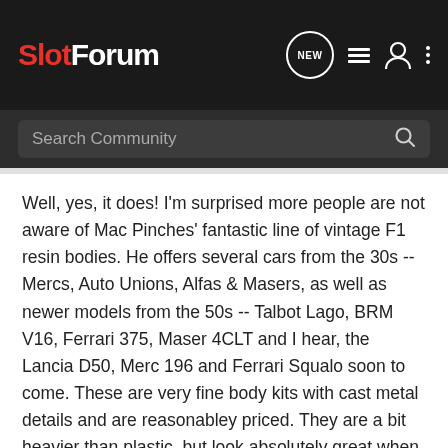SlotForum
Well, yes, it does! I'm surprised more people are not aware of Mac Pinches' fantastic line of vintage F1 resin bodies. He offers several cars from the 30s -- Mercs, Auto Unions, Alfas & Masers, as well as newer models from the 50s -- Talbot Lago, BRM V16, Ferrari 375, Maser 4CLT and I hear, the Lancia D50, Merc 196 and Ferrari Squalo soon to come. These are very fine body kits with cast metal details and are reasonabley priced. They are a bit heavier than plastic, but look absolutely great when broadsliding around corners -- no magnets of course! Check out Mark Gussin's site for pix (http://www.mgussin.freeuk.com/).
For me, the 1950s epitomize auto racing -- for both open-wheeled and sports cars. Great, easily recognizable, powerful